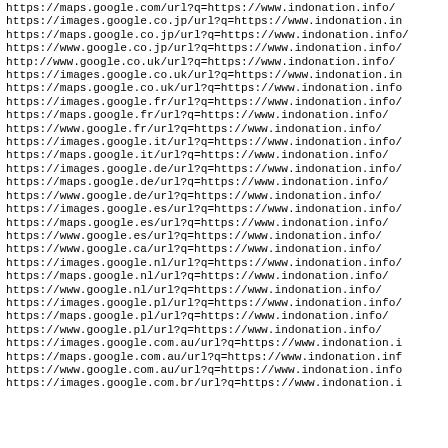https://maps.google.com/url?q=https://www.indonation.info/
https://images.google.co.jp/url?q=https://www.indonation.in
https://maps.google.co.jp/url?q=https://www.indonation.info/
https://www.google.co.jp/url?q=https://www.indonation.info/
http://www.google.co.uk/url?q=https://www.indonation.info/
https://images.google.co.uk/url?q=https://www.indonation.in
https://maps.google.co.uk/url?q=https://www.indonation.info
https://images.google.fr/url?q=https://www.indonation.info/
https://maps.google.fr/url?q=https://www.indonation.info/
https://www.google.fr/url?q=https://www.indonation.info/
https://images.google.it/url?q=https://www.indonation.info/
https://maps.google.it/url?q=https://www.indonation.info/
https://images.google.de/url?q=https://www.indonation.info/
https://maps.google.de/url?q=https://www.indonation.info/
https://www.google.de/url?q=https://www.indonation.info/
https://images.google.es/url?q=https://www.indonation.info/
https://maps.google.es/url?q=https://www.indonation.info/
https://www.google.es/url?q=https://www.indonation.info/
https://www.google.ca/url?q=https://www.indonation.info/
https://images.google.nl/url?q=https://www.indonation.info/
https://maps.google.nl/url?q=https://www.indonation.info/
https://www.google.nl/url?q=https://www.indonation.info/
https://images.google.pl/url?q=https://www.indonation.info/
https://maps.google.pl/url?q=https://www.indonation.info/
https://www.google.pl/url?q=https://www.indonation.info/
https://images.google.com.au/url?q=https://www.indonation.i
https://maps.google.com.au/url?q=https://www.indonation.inf
https://www.google.com.au/url?q=https://www.indonation.info
https://images.google.com.br/url?q=https://www.indonation.i